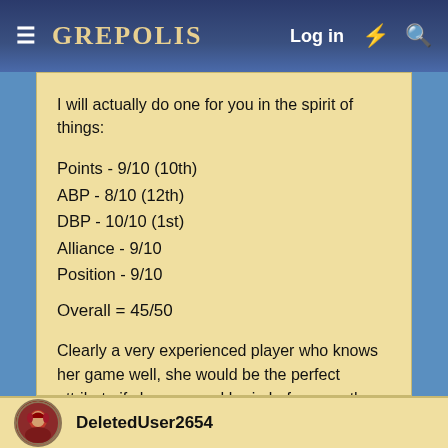≡ GREPOLIS   Log in ⚡ 🔍
I will actually do one for you in the spirit of things:
Points - 9/10 (10th)
ABP - 8/10 (12th)
DBP - 10/10 (1st)
Alliance - 9/10
Position - 9/10
Overall = 45/50
Clearly a very experienced player who knows her game well, she would be the perfect attribute if she engaged brain before mouth.
DeletedUser2654